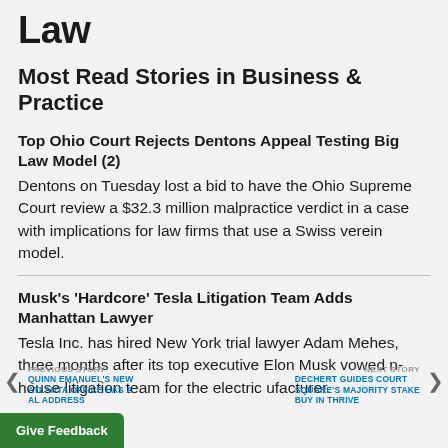Law
Most Read Stories in Business & Practice
Top Ohio Court Rejects Dentons Appeal Testing Big Law Model (2)
Dentons on Tuesday lost a bid to have the Ohio Supreme Court review a $32.3 million malpractice verdict in a case with implications for law firms that use a Swiss verein model.
Musk's 'Hardcore' Tesla Litigation Team Adds Manhattan Lawyer
Tesla Inc. has hired New York trial lawyer Adam Mehes, three months after its top executive Elon Musk vowed n-house litigation team for the electric ufacturer.